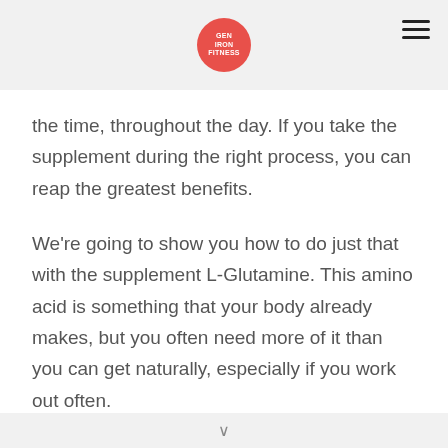the time, throughout the day. If you take the supplement during the right process, you can reap the greatest benefits.
We're going to show you how to do just that with the supplement L-Glutamine. This amino acid is something that your body already makes, but you often need more of it than you can get naturally, especially if you work out often.